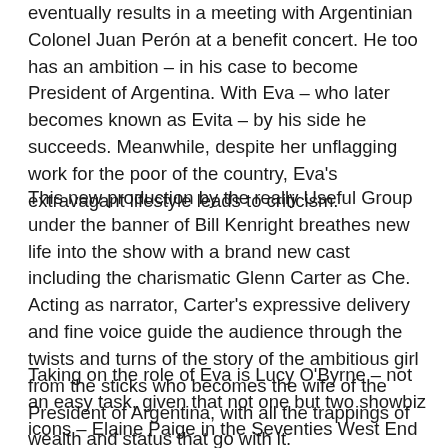eventually results in a meeting with Argentinian Colonel Juan Perón at a benefit concert. He too has an ambition – in his case to become President of Argentina. With Eva – who later becomes known as Evita – by his side he succeeds. Meanwhile, despite her unflagging work for the poor of the country, Eva's extravagant lifestyle leads to criticism.
This new production by the really Useful Group under the banner of Bill Kenright breathes new life into the show with a brand new cast including the charismatic Glenn Carter as Che. Acting as narrator, Carter's expressive delivery and fine voice guide the audience through the twists and turns of the story of the ambitious girl from the sticks who becomes the wife of the President of Argentina, with all the trappings of wealth and status that go with it.
Taking on the role of Eva is Lucy O'Byrne – not an easy task, given that not one but two showbiz icons – Elaine Paige in the Seventies West End production and Madonna in the film –